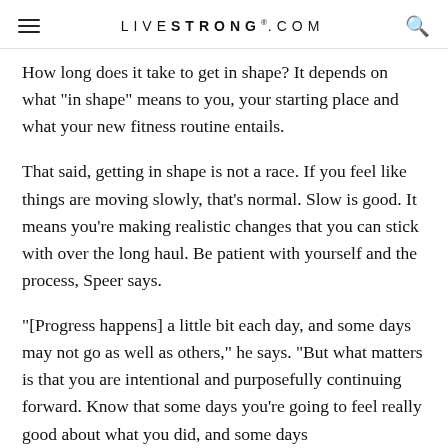LIVESTRONG.COM
How long does it take to get in shape? It depends on what "in shape" means to you, your starting place and what your new fitness routine entails.
That said, getting in shape is not a race. If you feel like things are moving slowly, that's normal. Slow is good. It means you're making realistic changes that you can stick with over the long haul. Be patient with yourself and the process, Speer says.
"[Progress happens] a little bit each day, and some days may not go as well as others," he says. "But what matters is that you are intentional and purposefully continuing forward. Know that some days you're going to feel really good about what you did, and some days